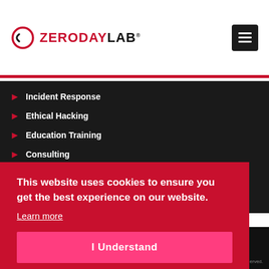[Figure (logo): ZeroDayLab logo with circular icon and red/black text]
Incident Response
Ethical Hacking
Education Training
Consulting
This website uses cookies to ensure you get the best experience on our website.
Learn more
I Understand
erved.